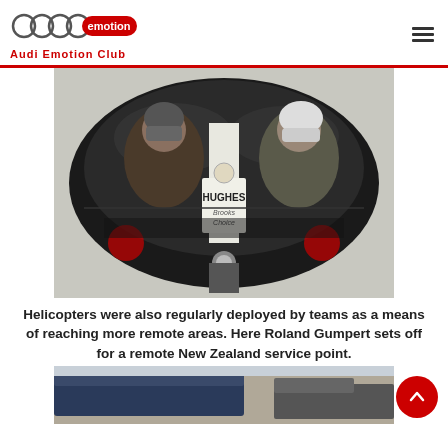Audi Emotion Club
[Figure (photo): Close-up front view of a Hughes helicopter cockpit with two people inside wearing helmets/headgear. The helicopter has 'HUGHES' branding visible on the nose, along with a logo. The cockpit bubble shows the two occupants clearly.]
Helicopters were also regularly deployed by teams as a means of reaching more remote areas. Here Roland Gumpert sets off for a remote New Zealand service point.
[Figure (photo): Partial view of a second photo showing vehicles/trucks, likely at a service point.]